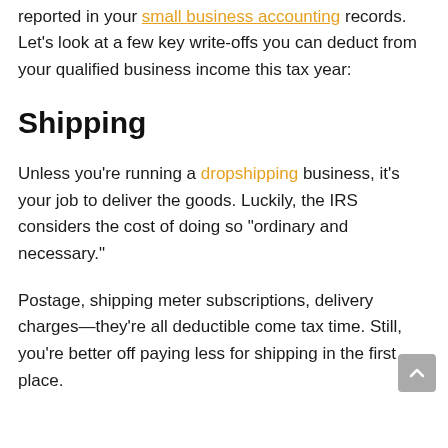reported in your small business accounting records. Let’s look at a few key write-offs you can deduct from your qualified business income this tax year:
Shipping
Unless you’re running a dropshipping business, it’s your job to deliver the goods. Luckily, the IRS considers the cost of doing so “ordinary and necessary.”
Postage, shipping meter subscriptions, delivery charges—they’re all deductible come tax time. Still, you’re better off paying less for shipping in the first place.